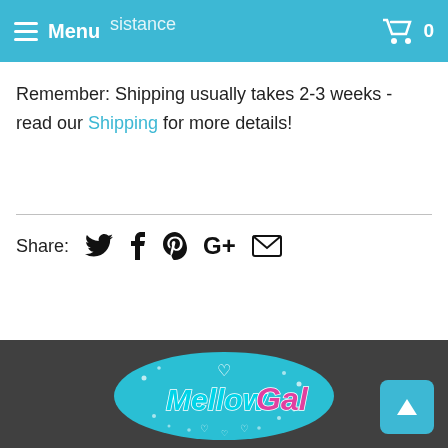Menu | 0 (cart)
Remember: Shipping usually takes 2-3 weeks - read our Shipping for more details!
Share: (twitter) (facebook) (pinterest) (google+) (email)
[Figure (logo): MellowGal logo: colorful script text 'Mellow Gal' with a teal oval background decorated with white hearts and dots]